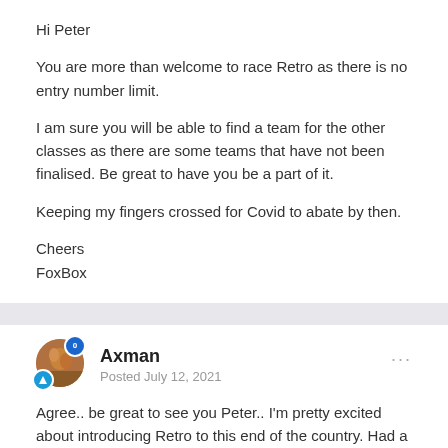Hi Peter
You are more than welcome to race Retro as there is no entry number limit.
I am sure you will be able to find a team for the other classes as there are some teams that have not been finalised. Be great to have you be a part of it.
Keeping my fingers crossed for Covid to abate by then.
Cheers
FoxBox
Axman
Posted July 12, 2021
Agree.. be great to see you Peter.. I'm pretty excited about introducing Retro to this end of the country. Had a lot of interest